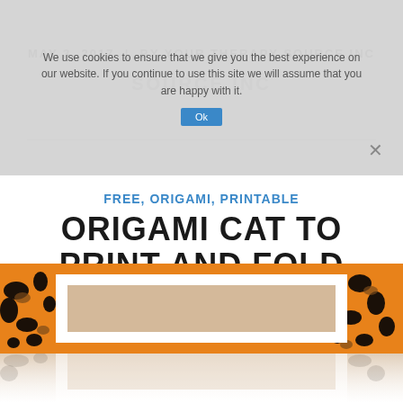MAY 3, 2017 | BY YOUR THERAPY SOURCE INC
We use cookies to ensure that we give you the best experience on our website. If you continue to use this site we will assume that you are happy with it.
FREE, ORIGAMI, PRINTABLE
ORIGAMI CAT TO PRINT AND FOLD
[Figure (photo): Leopard print pattern background with a white inner rectangle and beige/tan inset, shown with a faint reflection below.]